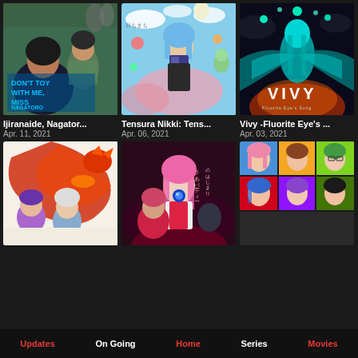[Figure (screenshot): Anime streaming app grid showing 6 anime thumbnails with titles and dates, and a bottom navigation bar.]
Ijiranaide, Nagator...
Apr. 11, 2021
Tensura Nikki: Tens...
Apr. 06, 2021
Vivy -Fluorite Eye's ...
Apr. 03, 2021
Updates   On Going   Home   Series   Movies